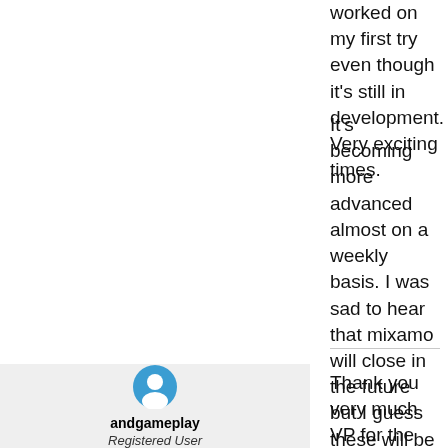worked on my first try even though it's still in development. Very exciting times.
It's becoming more advanced almost on a weekly basis. I was sad to hear that mixamo will close in the future but I guess these will be the new alternatives. Soon, making characters, animations, terrains, buildings and environments will become so realistic and easy to do - possibly even with real-time generation of all gaming content and missions - made on-the-fly by neural network algorithms.
andgameplay
Registered User
Thank you very much VP for the tip, this service is amazing! I also love these technologies, without a doubt it will help a lot in our creations! I believe Mixamo